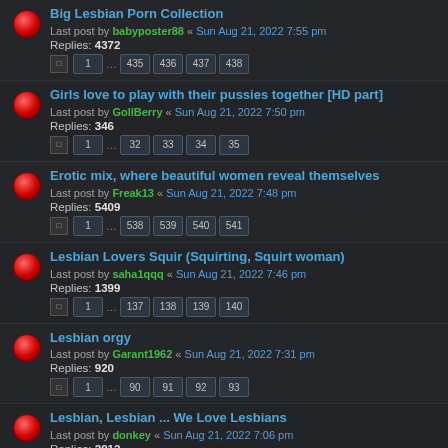Big Lesbian Porn Collection — Last post by babyposter88 « Sun Aug 21, 2022 7:55 pm — Replies: 4372 — Pages: 1 ... 435 436 437 438
Girls love to play with their pussies together [HD part] — Last post by GollBerry « Sun Aug 21, 2022 7:50 pm — Replies: 346 — Pages: 1 ... 32 33 34 35
Erotic mix, where beautiful women reveal themselves — Last post by Freak13 « Sun Aug 21, 2022 7:48 pm — Replies: 5409 — Pages: 1 ... 538 539 540 541
Lesbian Lovers Squir (Squirting, Squirt woman) — Last post by saha1qqq « Sun Aug 21, 2022 7:46 pm — Replies: 1399 — Pages: 1 ... 137 138 139 140
Lesbian orgy — Last post by Garant1962 « Sun Aug 21, 2022 7:31 pm — Replies: 920 — Pages: 1 ... 90 91 92 93
Lesbian, Lesbian ... We Love Lesbians — Last post by donkey « Sun Aug 21, 2022 7:06 pm — Replies: 2012 — Pages: 1 ... 199 200 201 202
Women in search of women | Lesbian Love — Last post by CrazyBaby13 « Sun Aug 21, 2022 6:45 pm — Replies: 3289